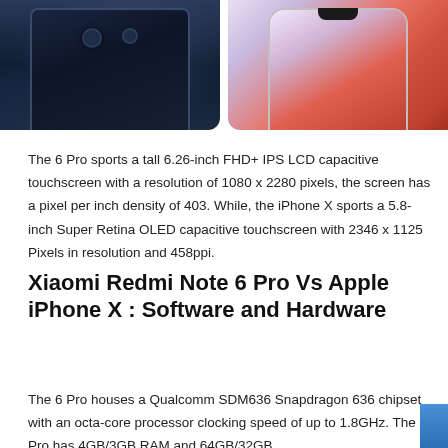[Figure (photo): Two smartphones side by side: left shows Xiaomi Redmi Note 6 Pro with dark screen showing night sky wallpaper, right shows Apple iPhone X with colorful gradient screen and notch.]
The 6 Pro sports a tall 6.26-inch FHD+ IPS LCD capacitive touchscreen with a resolution of 1080 x 2280 pixels, the screen has a pixel per inch density of 403. While, the iPhone X sports a 5.8-inch Super Retina OLED capacitive touchscreen with 2346 x 1125 Pixels in resolution and 458ppi.
Xiaomi Redmi Note 6 Pro Vs Apple iPhone X : Software and Hardware
The 6 Pro houses a Qualcomm SDM636 Snapdragon 636 chipset with an octa-core processor clocking speed of up to 1.8GHz. The 6 Pro has 4GB/3GB RAM and 64GB/32GB